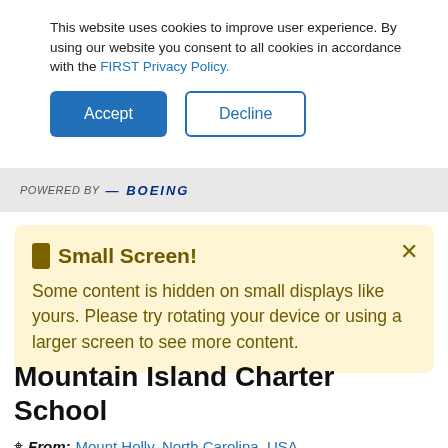This website uses cookies to improve user experience. By using our website you consent to all cookies in accordance with the FIRST Privacy Policy.
[Figure (screenshot): Accept and Decline cookie consent buttons]
[Figure (logo): Powered by Boeing logo in gray navigation bar]
Small Screen! Some content is hidden on small displays like yours. Please try rotating your device or using a larger screen to see more content.
Mountain Island Charter School
From: Mount Holly, North Carolina, USA
District: FIRST North Carolina
Rookie Year: 2018